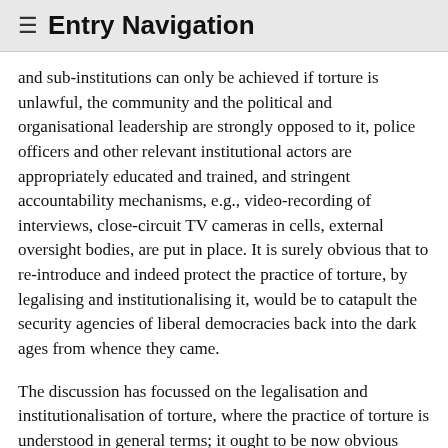≡ Entry Navigation
and sub-institutions can only be achieved if torture is unlawful, the community and the political and organisational leadership are strongly opposed to it, police officers and other relevant institutional actors are appropriately educated and trained, and stringent accountability mechanisms, e.g., video-recording of interviews, close-circuit TV cameras in cells, external oversight bodies, are put in place. It is surely obvious that to re-introduce and indeed protect the practice of torture, by legalising and institutionalising it, would be to catapult the security agencies of liberal democracies back into the dark ages from whence they came.
The discussion has focussed on the legalisation and institutionalisation of torture, where the practice of torture is understood in general terms; it ought to be now obvious why torture should not be legalised. However, some commentators, notably Alan Dershowitz, have argued that legalised torture could be justified, if the torture in question was restricted to extreme emergency situations